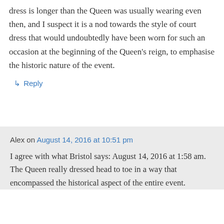dress is longer than the Queen was usually wearing even then, and I suspect it is a nod towards the style of court dress that would undoubtedly have been worn for such an occasion at the beginning of the Queen's reign, to emphasise the historic nature of the event.
↳ Reply
Alex on August 14, 2016 at 10:51 pm
I agree with what Bristol says: August 14, 2016 at 1:58 am. The Queen really dressed head to toe in a way that encompassed the historical aspect of the entire event.